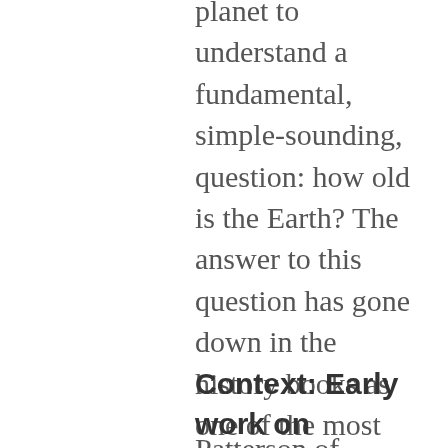planet to understand a fundamental, simple-sounding, question: how old is the Earth? The answer to this question has gone down in the history books as one of the most important geophysical and astrophysical discoveries of the past century. This paper, by Clair Patterson in 1956, is credited with providing the first accurate, measured age of the Earth.
Context: Early work on radioactivity
Patterson of course did not do